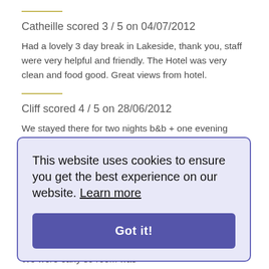Catheille scored 3 / 5 on 04/07/2012
Had a lovely 3 day break in Lakeside, thank you, staff were very helpful and friendly. The Hotel was very clean and food good. Great views from hotel.
Cliff scored 4 / 5 on 28/06/2012
We stayed there for two nights b&b + one evening meal. The staff were great, very friendly and made you feel very welcome. Our [text partially obscured by overlay] quality food all around. [text partially obscured] nearby. A [text partially obscured] to visit [text partially obscured]
This website uses cookies to ensure you get the best experience on our website. Learn more
[partially visible text behind overlay] hotel which is an absolute must in my book. We were early so room was